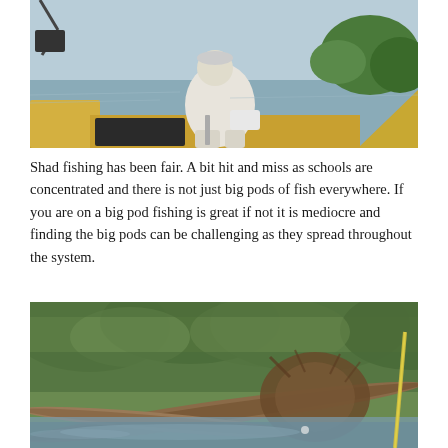[Figure (photo): A person in white clothing sitting on the bow of a yellow fishing boat on calm water, with green trees visible on the far shore in the background.]
Shad fishing has been fair. A bit hit and miss as schools are concentrated and there is not just big pods of fish everywhere. If you are on a big pod fishing is great if not it is mediocre and finding the big pods can be challenging as they spread throughout the system.
[Figure (photo): A blurry close-up photo of a riverbank with fallen logs, driftwood, and tangled brush/roots at the water's edge, with green leafy trees in the background and a yellow fishing rod or rod tip visible on the right side.]